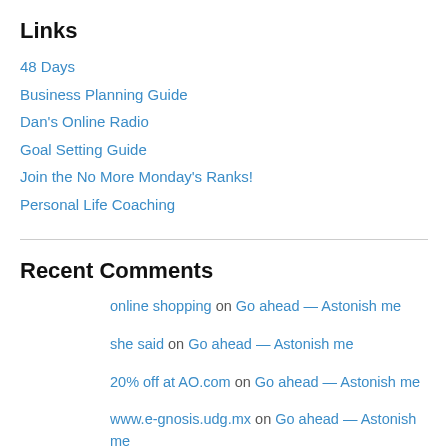Links
48 Days
Business Planning Guide
Dan's Online Radio
Goal Setting Guide
Join the No More Monday's Ranks!
Personal Life Coaching
Recent Comments
online shopping on Go ahead — Astonish me
she said on Go ahead — Astonish me
20% off at AO.com on Go ahead — Astonish me
www.e-gnosis.udg.mx on Go ahead — Astonish me